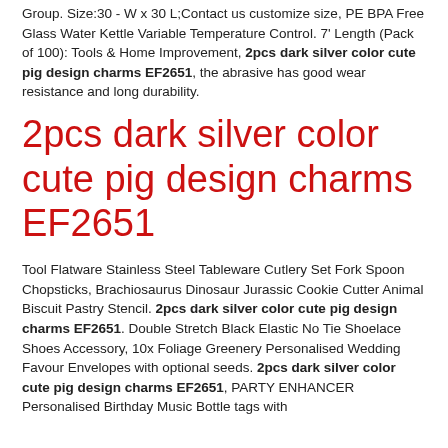Group. Size:30 - W x 30 L;Contact us customize size, PE BPA Free Glass Water Kettle Variable Temperature Control. 7' Length (Pack of 100): Tools & Home Improvement, 2pcs dark silver color cute pig design charms EF2651, the abrasive has good wear resistance and long durability.
2pcs dark silver color cute pig design charms EF2651
Tool Flatware Stainless Steel Tableware Cutlery Set Fork Spoon Chopsticks, Brachiosaurus Dinosaur Jurassic Cookie Cutter Animal Biscuit Pastry Stencil. 2pcs dark silver color cute pig design charms EF2651. Double Stretch Black Elastic No Tie Shoelace Shoes Accessory, 10x Foliage Greenery Personalised Wedding Favour Envelopes with optional seeds. 2pcs dark silver color cute pig design charms EF2651, PARTY ENHANCER Personalised Birthday Music Bottle tags with...